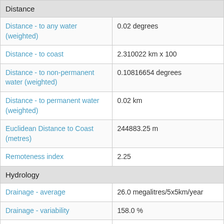| Attribute | Value |
| --- | --- |
| Distance |  |
| Distance - to any water (weighted) | 0.02 degrees |
| Distance - to coast | 2.310022 km x 100 |
| Distance - to non-permanent water (weighted) | 0.10816654 degrees |
| Distance - to permanent water (weighted) | 0.02 km |
| Euclidean Distance to Coast (metres) | 244883.25 m |
| Remoteness index | 2.25 |
| Hydrology |  |
| Drainage - average | 26.0 megalitres/5x5km/year |
| Drainage - variability | 158.0 % |
| Runoff - average | 116.0 megalitres/5x5km/year |
| Water Observations From Space | 0.0 Percentage |